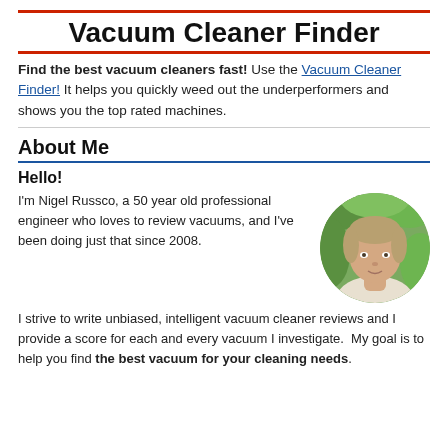Vacuum Cleaner Finder
Find the best vacuum cleaners fast! Use the Vacuum Cleaner Finder! It helps you quickly weed out the underperformers and shows you the top rated machines.
About Me
Hello!
[Figure (photo): Circular portrait photo of Nigel Russco, a middle-aged blond man in front of green foliage background]
I'm Nigel Russco, a 50 year old professional engineer who loves to review vacuums, and I've been doing just that since 2008.
I strive to write unbiased, intelligent vacuum cleaner reviews and I provide a score for each and every vacuum I investigate.  My goal is to help you find the best vacuum for your cleaning needs.